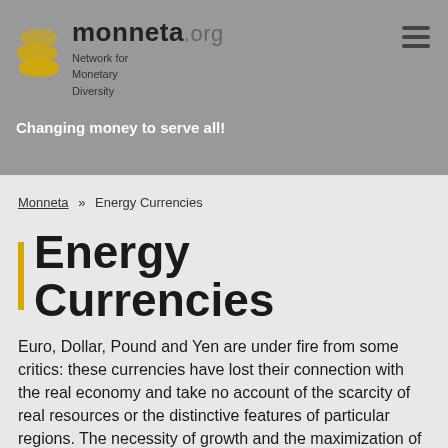monneta.org Network for Monetary Diversity — Changing money to serve all!
Monneta » Energy Currencies
Energy Currencies
Euro, Dollar, Pound and Yen are under fire from some critics: these currencies have lost their connection with the real economy and take no account of the scarcity of real resources or the distinctive features of particular regions. The necessity of growth and the maximization of profit are pre-programmed by the system of credit creation. Proposals for energy-based currencies aim to create an alternative: a medium of exchange compatible with the structure of renewable energies, which is stable in the